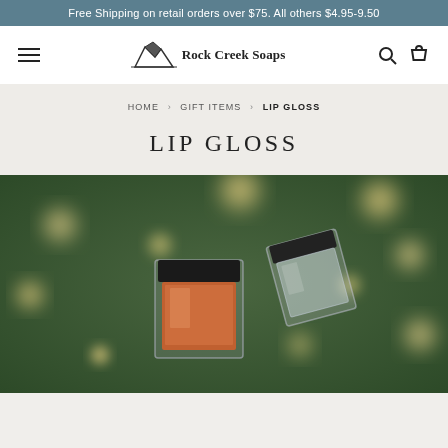Free Shipping on retail orders over $75. All others $4.95-9.50
[Figure (logo): Rock Creek Soaps logo with mountain illustration and text]
HOME > GIFT ITEMS > LIP GLOSS
LIP GLOSS
[Figure (photo): Two small square glass lip gloss containers with black lids, one amber/orange tinted and one clear, displayed against a blurred green bokeh background with warm light spots]